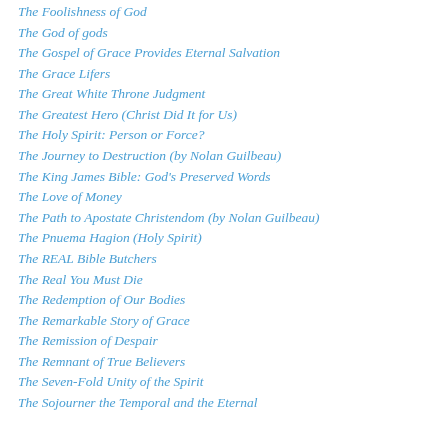The Foolishness of God
The God of gods
The Gospel of Grace Provides Eternal Salvation
The Grace Lifers
The Great White Throne Judgment
The Greatest Hero (Christ Did It for Us)
The Holy Spirit: Person or Force?
The Journey to Destruction (by Nolan Guilbeau)
The King James Bible: God's Preserved Words
The Love of Money
The Path to Apostate Christendom (by Nolan Guilbeau)
The Pnuema Hagion (Holy Spirit)
The REAL Bible Butchers
The Real You Must Die
The Redemption of Our Bodies
The Remarkable Story of Grace
The Remission of Despair
The Remnant of True Believers
The Seven-Fold Unity of the Spirit
The Sojourner the Temporal and the Eternal